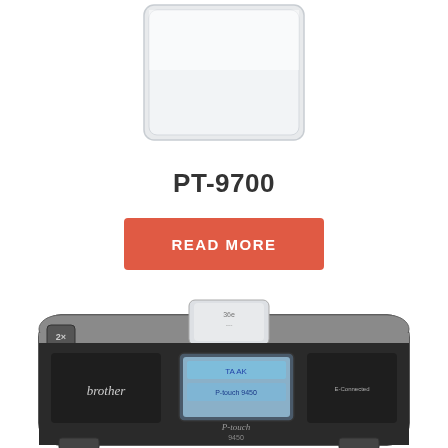[Figure (photo): Brother PT-9700 label printer tape cartridge/label strip shown from above, white background]
PT-9700
READ MORE
[Figure (photo): Brother P-touch 9450 label printer, black and silver body, shown from front/top angle with LCD display showing text]